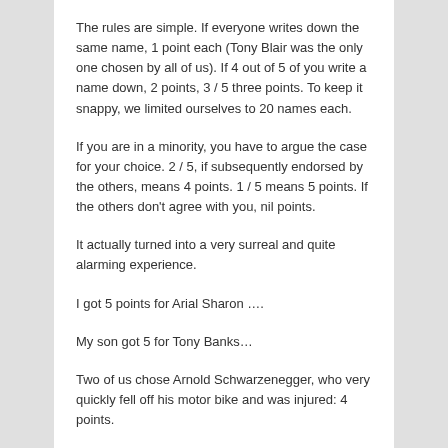The rules are simple. If everyone writes down the same name, 1 point each (Tony Blair was the only one chosen by all of us). If 4 out of 5 of you write a name down, 2 points, 3 / 5 three points. To keep it snappy, we limited ourselves to 20 names each.
If you are in a minority, you have to argue the case for your choice. 2 / 5, if subsequently endorsed by the others, means 4 points. 1 / 5 means 5 points. If the others don't agree with you, nil points.
It actually turned into a very surreal and quite alarming experience.
I got 5 points for Arial Sharon ….
My son got 5 for Tony Banks…
Two of us chose Arnold Schwarzenegger, who very quickly fell off his motor bike and was injured: 4 points.